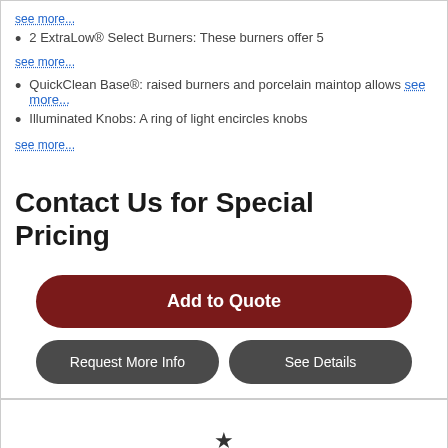see more...
2 ExtraLow® Select Burners: These burners offer 5
see more...
QuickClean Base®: raised burners and porcelain maintop allows see more...
Illuminated Knobs: A ring of light encircles knobs
see more...
Contact Us for Special Pricing
Add to Quote
Request More Info
See Details